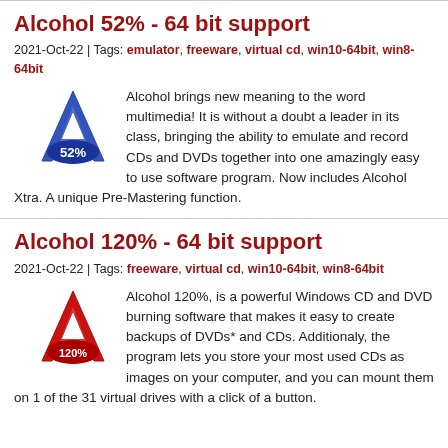Alcohol 52% - 64 bit support
2021-Oct-22 | Tags: emulator, freeware, virtual cd, win10-64bit, win8-64bit
Alcohol brings new meaning to the word multimedia! It is without a doubt a leader in its class, bringing the ability to emulate and record CDs and DVDs together into one amazingly easy to use software program. Now includes Alcohol Xtra. A unique Pre-Mastering function.
Alcohol 120% - 64 bit support
2021-Oct-22 | Tags: freeware, virtual cd, win10-64bit, win8-64bit
Alcohol 120%, is a powerful Windows CD and DVD burning software that makes it easy to create backups of DVDs* and CDs. Additionaly, the program lets you store your most used CDs as images on your computer, and you can mount them on 1 of the 31 virtual drives with a click of a button.